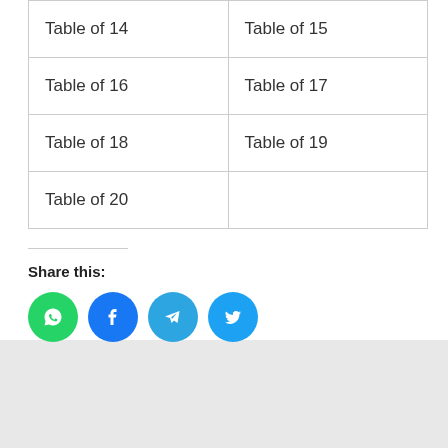| Table of 14 | Table of 15 |
| Table of 16 | Table of 17 |
| Table of 18 | Table of 19 |
| Table of 20 |  |
Share this:
[Figure (infographic): Social share icons: WhatsApp (green), Facebook (blue), Telegram (blue-grey), Twitter (light blue)]